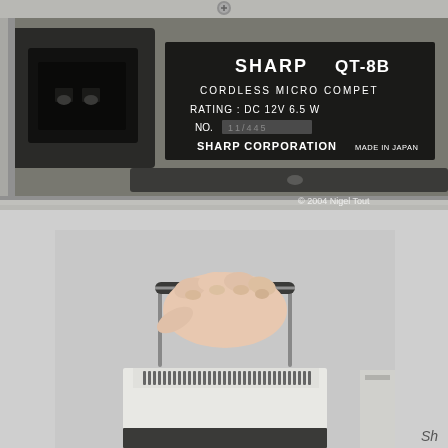[Figure (photo): Close-up photo of the bottom/back label of a Sharp QT-8B cordless micro computer calculator. The label reads: SHARP QT-8B, CORDLESS MICRO COMPET, RATING: DC 12V 6.5W, NO. [serial number redacted], SHARP CORPORATION, MADE IN JAPAN. There is a power connector port visible on the left side. Watermark reads: © 2004 Nigel Tout]
[Figure (photo): Photo of a hand gripping the wire carry handle of a Sharp QT-8B cordless micro computer calculator. The device is white/cream colored with ventilation slits visible on the top surface. The hand holds the metal loop handle from above.]